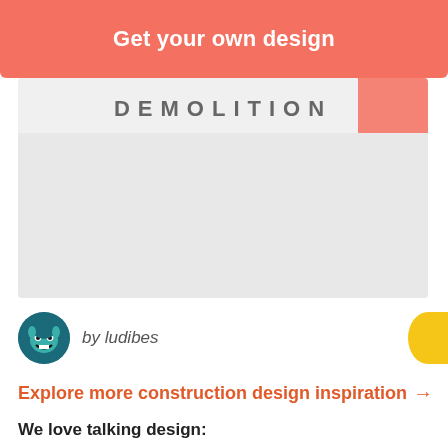Get your own design
[Figure (screenshot): A partial preview of a construction/demolition design with the word DEMOLITION visible at the top against a light grey background.]
by ludibes
Explore more construction design inspiration →
We love talking design: